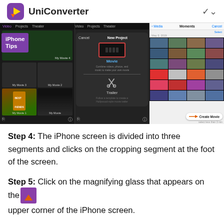UniConverter
[Figure (screenshot): Three iPhone screen panels showing iMovie app: Panel 1 shows iMovie project thumbnails with iPhone Tips badge; Panel 2 shows New Project dialog with Movie and Trailer options; Panel 3 shows Moments photo grid with Create Movie button]
Step 4: The iPhone screen is divided into three segments and clicks on the cropping segment at the foot of the screen.
Step 5: Click on the magnifying glass that appears on the upper corner of the iPhone screen.